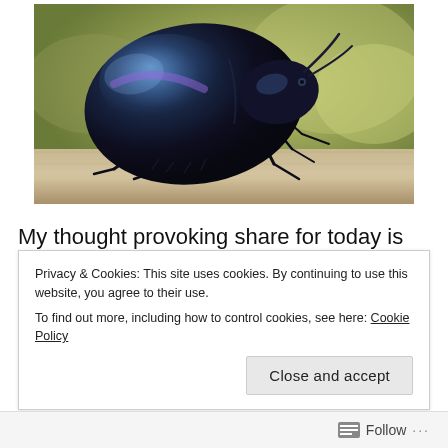[Figure (photo): Close-up macro photograph of a large iridescent blue-black beetle (dung beetle or similar scarab) perched on a wooden surface, viewed from the side. The beetle has a shiny rounded carapace with blue-purple metallic sheen, hairy legs, and is photographed against a blurred yellow-green background.]
My thought provoking share for today is that you may look up to Mr. Beetle! Specially when
Privacy & Cookies: This site uses cookies. By continuing to use this website, you agree to their use.
To find out more, including how to control cookies, see here: Cookie Policy
Close and accept
Follow ...